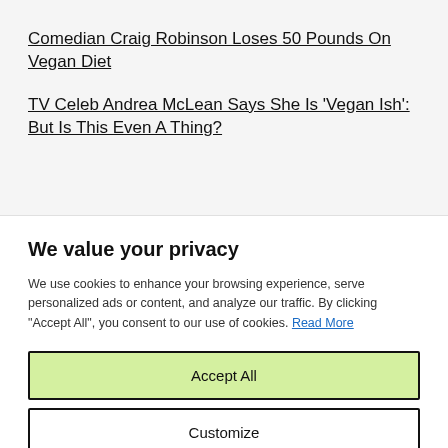Comedian Craig Robinson Loses 50 Pounds On Vegan Diet
TV Celeb Andrea McLean Says She Is 'Vegan Ish': But Is This Even A Thing?
We value your privacy
We use cookies to enhance your browsing experience, serve personalized ads or content, and analyze our traffic. By clicking "Accept All", you consent to our use of cookies. Read More
Accept All
Customize
Reject All